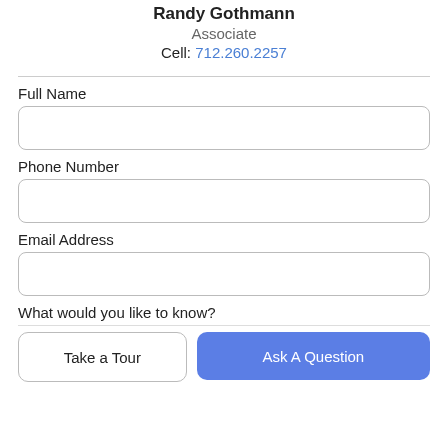Randy Gothmann
Associate
Cell: 712.260.2257
Full Name
Phone Number
Email Address
What would you like to know?
Take a Tour
Ask A Question